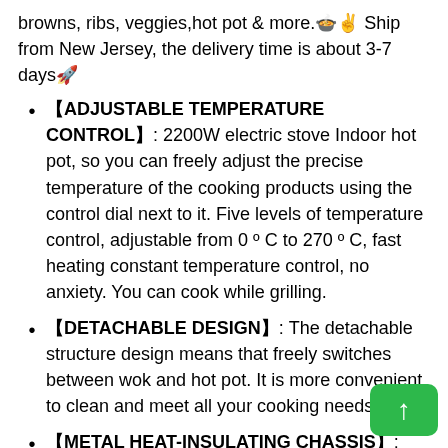browns, ribs, veggies,hot pot & more.🍲✌ Ship from New Jersey, the delivery time is about 3-7 days🚀
【ADJUSTABLE TEMPERATURE CONTROL】: 2200W electric stove Indoor hot pot, so you can freely adjust the precise temperature of the cooking products using the control dial next to it. Five levels of temperature control, adjustable from 0 º C to 270 º C, fast heating constant temperature control, no anxiety. You can cook while grilling.
【DETACHABLE DESIGN】: The detachable structure design means that freely switches between wok and hot pot. It is more convenient to clean and meet all your cooking needs.
【METAL HEAT-INSULATING CHASSIS】: Bottom